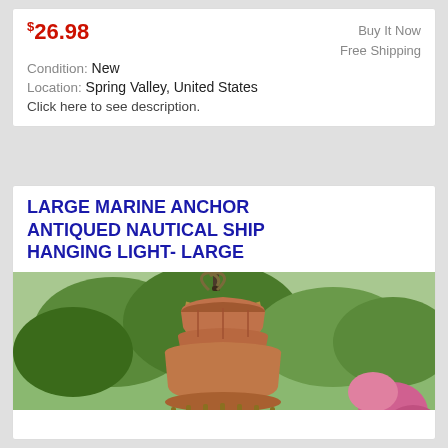$26.98
Buy It Now
Free Shipping
Condition: New
Location: Spring Valley, United States
Click here to see description.
LARGE MARINE ANCHOR ANTIQUED NAUTICAL SHIP HANGING LIGHT- LARGE
[Figure (photo): Large copper marine anchor lantern hanging light photographed outdoors against green trees and pink flowering bushes background]